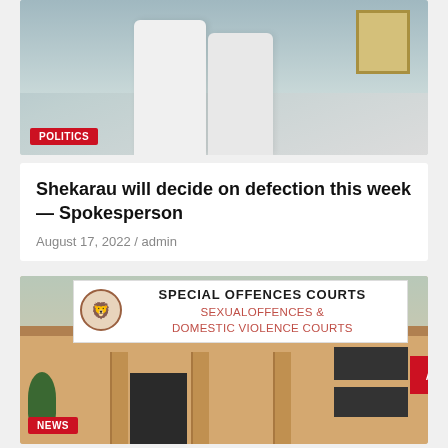[Figure (photo): Two people in white robes/attire standing together, with a framed certificate visible in the background. A red POLITICS badge is overlaid at the bottom left.]
Shekarau will decide on defection this week — Spokesperson
August 17, 2022 / admin
[Figure (photo): Exterior photo of a Special Offences Courts building showing a sign reading 'SPECIAL OFFENCES COURTS SEXUALOFFENCES & DOMESTIC VIOLENCE COURTS' with a court seal. A red NEWS badge is overlaid at the bottom left. A red scroll-to-top arrow button appears at the right side.]